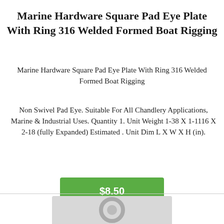Marine Hardware Square Pad Eye Plate With Ring 316 Welded Formed Boat Rigging
Marine Hardware Square Pad Eye Plate With Ring 316 Welded Formed Boat Rigging
Non Swivel Pad Eye. Suitable For All Chandlery Applications, Marine & Industrial Uses. Quantity 1. Unit Weight 1-38 X 1-1116 X 2-18 (fully Expanded) Estimated . Unit Dim L X W X H (in).
$8.50
[Figure (photo): Product photo of a marine hardware square pad eye plate with ring, showing a metallic ring and base plate.]